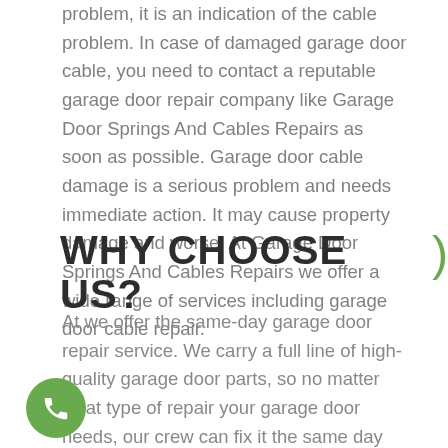problem, it is an indication of the cable problem. In case of damaged garage door cable, you need to contact a reputable garage door repair company like Garage Door Springs And Cables Repairs as soon as possible. Garage door cable damage is a serious problem and needs immediate action. It may cause property damage and worse. At Garage Door Springs And Cables Repairs we offer a wide range of services including garage door cable repair.
WHY CHOOSE US?
At we offer the same-day garage door repair service. We carry a full line of high-quality garage door parts, so no matter what type of repair your garage door needs, our crew can fix it the same day you call us. We are experienced and certified. To avail of our services of garage door cable repair in Redstone, contact us at Garage Door Springs And Cables